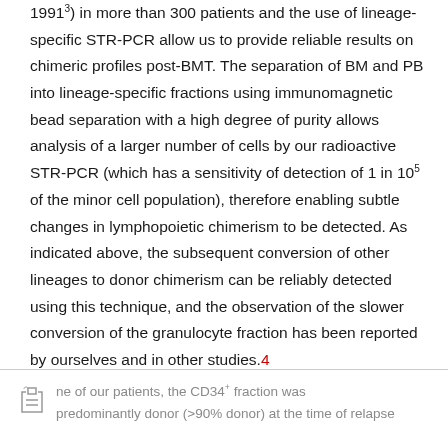1991³) in more than 300 patients and the use of lineage-specific STR-PCR allow us to provide reliable results on chimeric profiles post-BMT. The separation of BM and PB into lineage-specific fractions using immunomagnetic bead separation with a high degree of purity allows analysis of a larger number of cells by our radioactive STR-PCR (which has a sensitivity of detection of 1 in 10⁵ of the minor cell population), therefore enabling subtle changes in lymphopoietic chimerism to be detected. As indicated above, the subsequent conversion of other lineages to donor chimerism can be reliably detected using this technique, and the observation of the slower conversion of the granulocyte fraction has been reported by ourselves and in other studies.4
ne of our patients, the CD34⁺ fraction was predominantly donor (>90% donor) at the time of relapse